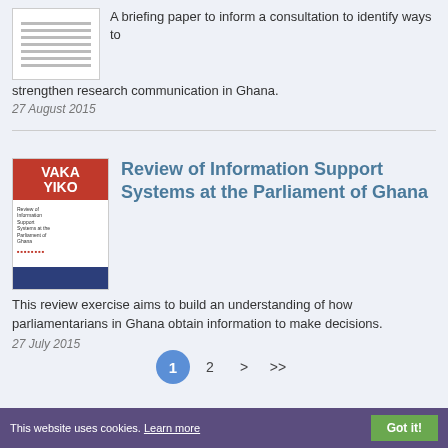[Figure (illustration): Thumbnail of a document/report with horizontal lines suggesting text]
A briefing paper to inform a consultation to identify ways to strengthen research communication in Ghana.
27 August 2015
[Figure (illustration): Cover of the 'Review of Information Support Systems at the Parliament of Ghana' report, with red VAKA YIKO logo at top, body text lines, and blue bar at bottom]
Review of Information Support Systems at the Parliament of Ghana
This review exercise aims to build an understanding of how parliamentarians in Ghana obtain information to make decisions.
27 July 2015
1  2  >  >>
This website uses cookies. Learn more   Got it!